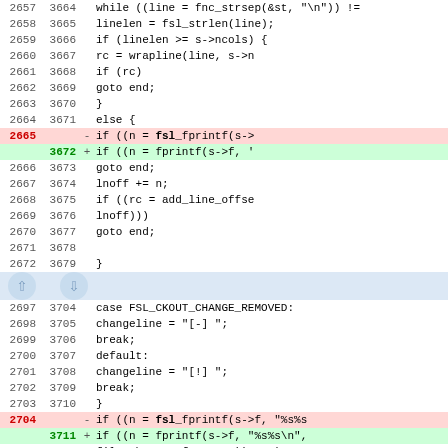[Figure (screenshot): Code diff view showing changes to C source code. Lines 2657-2679 (old) / 3664-3679 (new) show a while loop with wrapline and fprintf logic. A separator row with up/down arrows separates two hunks. Lines 2697-2705 (old) / 3704-3712 (new) show case FSL_CKOUT_CHANGE_REMOVED and default blocks. Removed lines (2665, 2704) highlighted in red use fsl_fprintf, replaced by added lines (3672, 3711) highlighted in green using fprintf.]